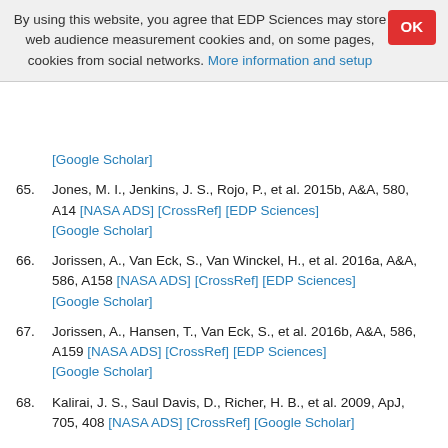By using this website, you agree that EDP Sciences may store web audience measurement cookies and, on some pages, cookies from social networks. More information and setup
65. Jones, M. I., Jenkins, J. S., Rojo, P., et al. 2015b, A&A, 580, A14 [NASA ADS] [CrossRef] [EDP Sciences] [Google Scholar]
66. Jorissen, A., Van Eck, S., Van Winckel, H., et al. 2016a, A&A, 586, A158 [NASA ADS] [CrossRef] [EDP Sciences] [Google Scholar]
67. Jorissen, A., Hansen, T., Van Eck, S., et al. 2016b, A&A, 586, A159 [NASA ADS] [CrossRef] [EDP Sciences] [Google Scholar]
68. Kalirai, J. S., Saul Davis, D., Richer, H. B., et al. 2009, ApJ, 705, 408 [NASA ADS] [CrossRef] [Google Scholar]
69. Karakas, A. I., Tout, C. A., & Lattanzio, J. C. 2000, MNRAS